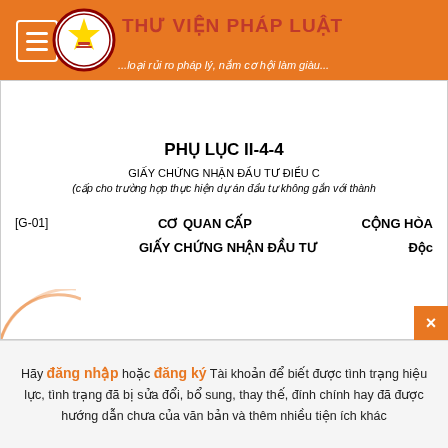THƯ VIỆN PHÁP LUẬT ...loại rủi ro pháp lý, nắm cơ hội làm giàu...
PHỤ LỤC II-4-4
GIẤY CHỨNG NHẬN ĐẦU TƯ ĐIỀU C
(cấp cho trường hợp thực hiện dự án đầu tư không gắn với thành
[G-01]   CƠ QUAN CẤP   CỘNG HÒA
GIẤY CHỨNG NHẬN ĐẦU TƯ   Độc
Hãy đăng nhập hoặc đăng ký Tài khoản để biết được tình trạng hiệu lực, tình trạng đã bị sửa đổi, bổ sung, thay thế, đính chính hay đã được hướng dẫn chưa của văn bản và thêm nhiều tiện ích khác